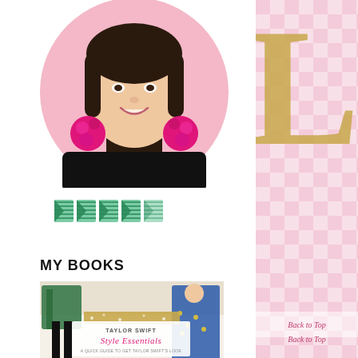[Figure (photo): Profile photo of a smiling Asian woman with short bob hair wearing large hot-pink pom-pom earrings and a black top, set within a pink circle background]
[Figure (illustration): Row of five small flag/pennant icons (star rating or award icons in green/teal striped pattern)]
MY BOOKS
[Figure (photo): Book cover for 'Taylor Swift Style Essentials - A Quick Guide to Get Taylor Swift's Look' by Sinda Kusritasari, showing Taylor Swift in two outfits with fashion accessories]
[Figure (illustration): Right column with pink gingham/plaid pattern background and a large gold letter partially visible at top]
Back to Top